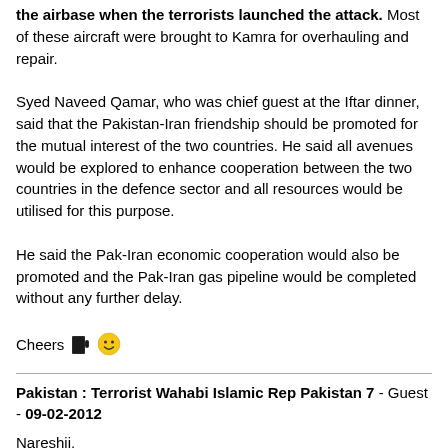the airbase when the terrorists launched the attack. Most of these aircraft were brought to Kamra for overhauling and repair.
Syed Naveed Qamar, who was chief guest at the Iftar dinner, said that the Pakistan-Iran friendship should be promoted for the mutual interest of the two countries. He said all avenues would be explored to enhance cooperation between the two countries in the defence sector and all resources would be utilised for this purpose.
He said the Pak-Iran economic cooperation would also be promoted and the Pak-Iran gas pipeline would be completed without any further delay.
Cheers 🍺 😊
Pakistan : Terrorist Wahabi Islamic Rep Pakistan 7 - Guest - 09-02-2012
Nareshji,
As usual they lied,